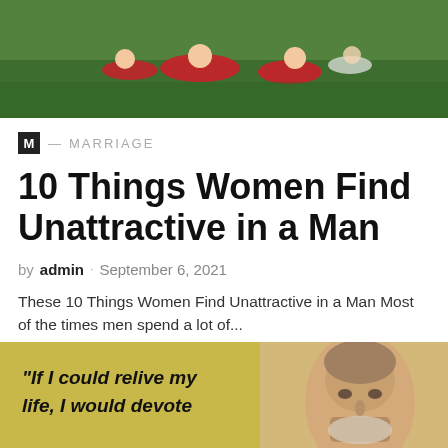[Figure (photo): Soccer players in red uniforms sitting/lying on a green field, appearing injured or exhausted]
M — MARRIAGE
10 Things Women Find Unattractive in a Man
by admin · September 6, 2021
These 10 Things Women Find Unattractive in a Man Most of the times men spend a lot of...
[Figure (photo): Yellow/olive background with text quote 'If I could relive my life, I would devote' on left side; elderly man portrait on right side]